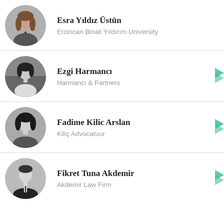Esra Yıldız Üstün
Erzincan Binali Yıldırım University
Ezgi Harmancı
Harmancı & Partners
Fadime Kilic Arslan
Kiliç Advocatuur
Fikret Tuna Akdemir
Akdemir Law Firm